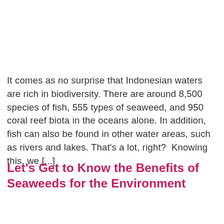It comes as no surprise that Indonesian waters are rich in biodiversity. There are around 8,500 species of fish, 555 types of seaweed, and 950 coral reef biota in the oceans alone. In addition, fish can also be found in other water areas, such as rivers and lakes. That's a lot, right? Knowing this, we [...]
Let's Get to Know the Benefits of Seaweeds for the Environment